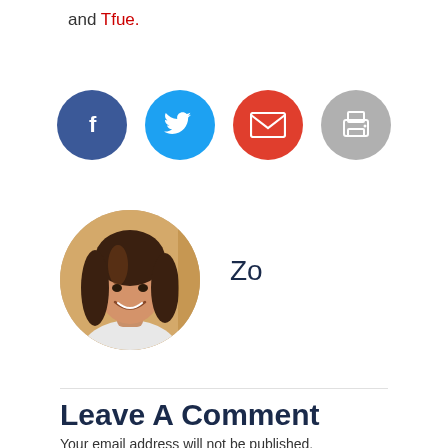and Tfue.
[Figure (infographic): Row of four social share buttons: Facebook (dark blue circle with f icon), Twitter (light blue circle with bird icon), Email (red circle with envelope icon), Print (gray circle with printer icon)]
[Figure (photo): Circular cropped photo of a smiling woman with long brown hair]
Zo
Leave A Comment
Your email address will not be published.
Required fields are marked *